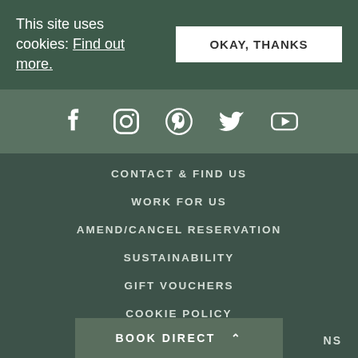This site uses cookies: Find out more.
OKAY, THANKS
[Figure (illustration): Social media icons row: Facebook, Instagram, Pinterest, Twitter, YouTube]
CONTACT & FIND US
WORK FOR US
AMEND/CANCEL RESERVATION
SUSTAINABILITY
GIFT VOUCHERS
COOKIE POLICY
PRIVACY POLICY
BOOK DIRECT
NS